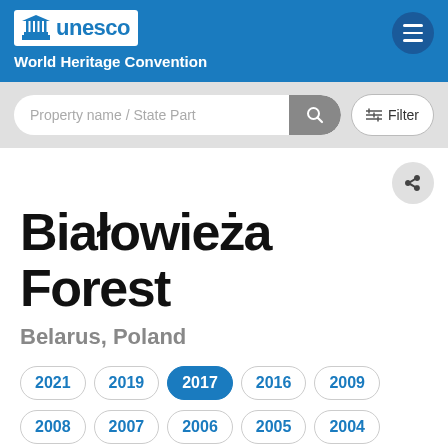[Figure (logo): UNESCO World Heritage Convention header with logo and hamburger menu]
[Figure (screenshot): Search bar with 'Property name / State Part' placeholder and Filter button]
Białowieża Forest
Belarus, Poland
2021
2019
2017
2016
2009
2008
2007
2006
2005
2004